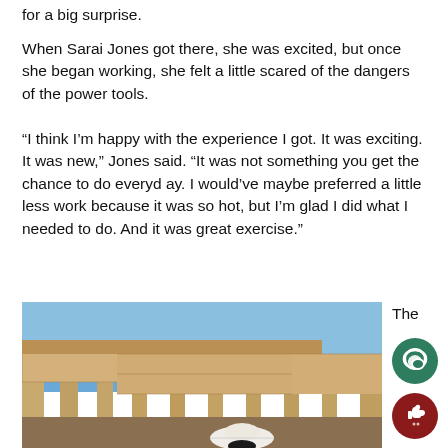for a big surprise.
When Sarai Jones got there, she was excited, but once she began working, she felt a little scared of the dangers of the power tools.
“I think I’m happy with the experience I got. It was exciting. It was new,” Jones said. “It was not something you get the chance to do everyd ay. I would’ve maybe preferred a little less work because it was so hot, but I’m glad I did what I needed to do. And it was great exercise.”
[Figure (photo): Construction framing scene showing wooden studs and sheathing of a house under blue sky, with a person wearing a white cowboy hat visible at the bottom.]
The